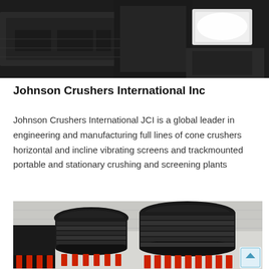[Figure (photo): Close-up photo of industrial crusher/screening equipment, dark metallic machinery with a bright light reflection on the right side]
Johnson Crushers International Inc
Johnson Crushers International JCI is a global leader in engineering and manufacturing full lines of cone crushers horizontal and incline vibrating screens and trackmounted portable and stationary crushing and screening plants
[Figure (photo): Photo of multiple large black cone crushers with red hydraulic cylinders at the base, inside an industrial facility]